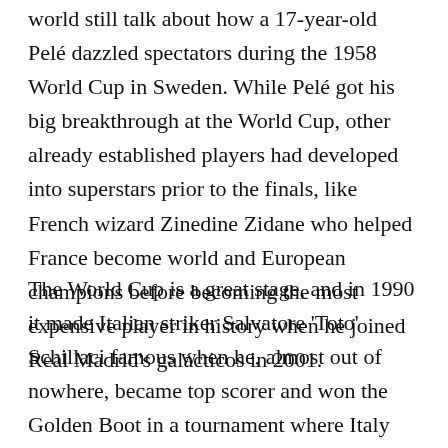world still talk about how a 17-year-old Pelé dazzled spectators during the 1958 World Cup in Sweden. While Pelé got his big breakthrough at the World Cup, other already established players had developed into superstars prior to the finals, like French wizard Zinedine Zidane who helped France become world and European champions before becoming the most expensive player in history when he joined Real Madrid's galácticos in 2001.
The World Cup is a great stage, and in 1990 it made Italian striker Salvatore 'Toto' Schillaci famous when he, almost out of nowhere, became top scorer and won the Golden Boot in a tournament where Italy finished third. Schillaci finished second in that year's Ballon d'Or and went on to desktop his career and led...